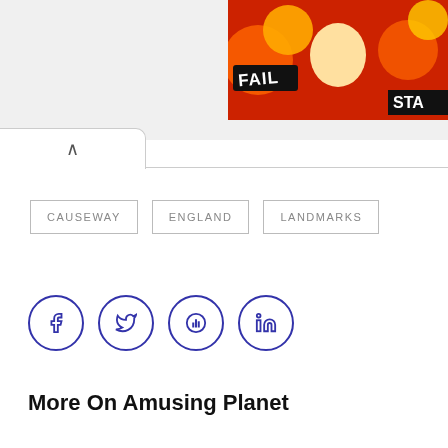[Figure (illustration): Advertisement banner with FAIL text and animated cartoon character with flames on red background, partially cropped at top right]
CAUSEWAY
ENGLAND
LANDMARKS
[Figure (infographic): Social share buttons: Facebook (f), Twitter (bird), Pinterest (p), LinkedIn (in) - circular outlined icons in dark blue/purple]
More On Amusing Planet